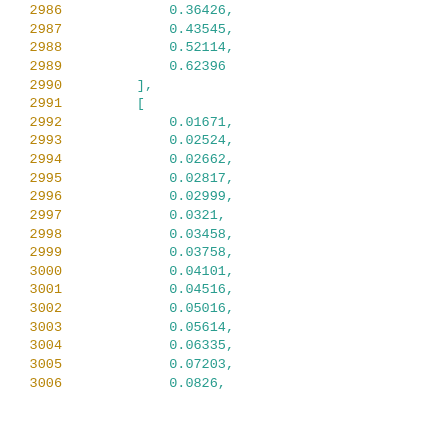2986    0.36426,
2987    0.43545,
2988    0.52114,
2989    0.62396
2990    ],
2991    [
2992    0.01671,
2993    0.02524,
2994    0.02662,
2995    0.02817,
2996    0.02999,
2997    0.0321,
2998    0.03458,
2999    0.03758,
3000    0.04101,
3001    0.04516,
3002    0.05016,
3003    0.05614,
3004    0.06335,
3005    0.07203,
3006    0.0826,